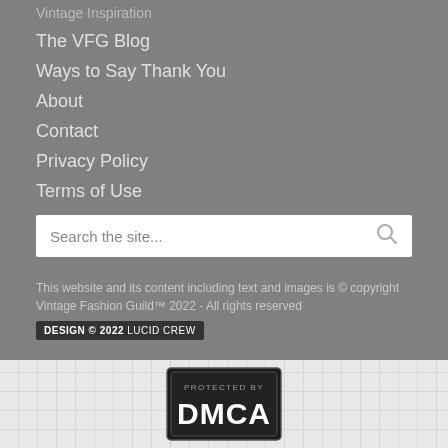Vintage Inspiration
The VFG Blog
Ways to Say Thank You
About
Contact
Privacy Policy
Terms of Use
Search the site...
This website and its content including text and images is © copyright Vintage Fashion Guild™ 2022 - All rights reserved
DESIGN © 2022 LUCID CREW
[Figure (logo): DMCA Protected badge - black rectangular badge with 'PROTECTED BY DMCA' text]